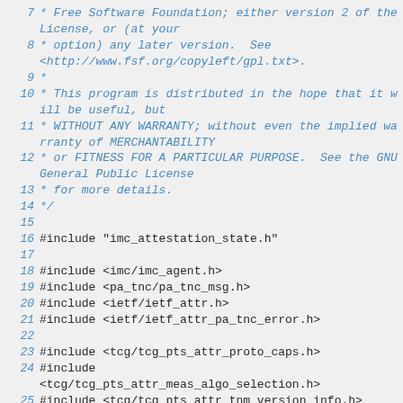7  * Free Software Foundation; either version 2 of the License, or (at your
8  * option) any later version.  See <http://www.fsf.org/copyleft/gpl.txt>.
9  *
10  * This program is distributed in the hope that it will be useful, but
11  * WITHOUT ANY WARRANTY; without even the implied warranty of MERCHANTABILITY
12  * or FITNESS FOR A PARTICULAR PURPOSE.  See the GNU General Public License
13  * for more details.
14  */
15
16 #include "imc_attestation_state.h"
17
18 #include <imc/imc_agent.h>
19 #include <pa_tnc/pa_tnc_msg.h>
20 #include <ietf/ietf_attr.h>
21 #include <ietf/ietf_attr_pa_tnc_error.h>
22
23 #include <tcg/tcg_pts_attr_proto_caps.h>
24 #include <tcg/tcg_pts_attr_meas_algo_selection.h>
25 #include <tcg/tcg_pts_attr_tnm_version_info.h>